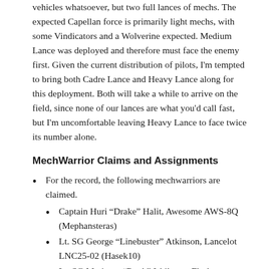vehicles whatsoever, but two full lances of mechs. The expected Capellan force is primarily light mechs, with some Vindicators and a Wolverine expected. Medium Lance was deployed and therefore must face the enemy first. Given the current distribution of pilots, I'm tempted to bring both Cadre Lance and Heavy Lance along for this deployment. Both will take a while to arrive on the field, since none of our lances are what you'd call fast, but I'm uncomfortable leaving Heavy Lance to face twice its number alone.
MechWarrior Claims and Assignments
For the record, the following mechwarriors are claimed.
Captain Huri “Drake” Halit, Awesome AWS-8Q (Mephansteras)
Lt. SG George “Linebuster” Atkinson, Lancelot LNC25-02 (Hasek10)
Lt. SG Mariamu “Rook” Ishikawa, Flashman FLS-7K (Culise)